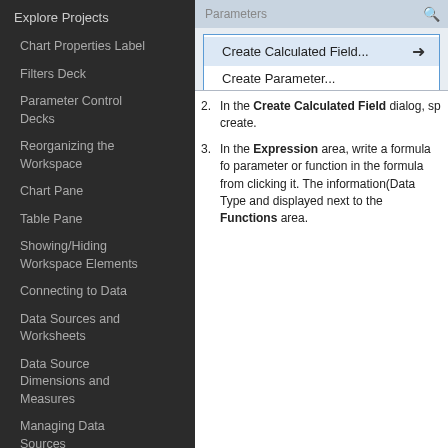Explore Projects
Chart Properties Label
Filters Deck
Parameter Control Decks
Reorganizing the Workspace
Chart Pane
Table Pane
Showing/Hiding Workspace Elements
Connecting to Data
Data Sources and Worksheets
Data Source Dimensions and Measures
Managing Data Sources
Data Extracts
[Figure (screenshot): Dropdown menu from Parameters panel showing 'Create Calculated Field...' and 'Create Parameter...' options, with cursor hovering over Create Calculated Field]
2. In the Create Calculated Field dialog, specify the name of the calculated field you want to create.
3. In the Expression area, write a formula for the calculated field. You can select a parameter or function in the formula from the list on the right by clicking it. The information (Data Type and description) about the function is displayed next to the Functions area.
[Figure (screenshot): Create Calculated Field dialog showing Name field with 'Calculation1', toolbar with cut/copy/paste/undo/redo/search icons, and code editor with CASE statement: CASE [Territory] WHEN 'Canada' THEN ([Profit] + ... WHEN 'France' THEN ([Profit] + ... WHEN 'United Kingdom ...]